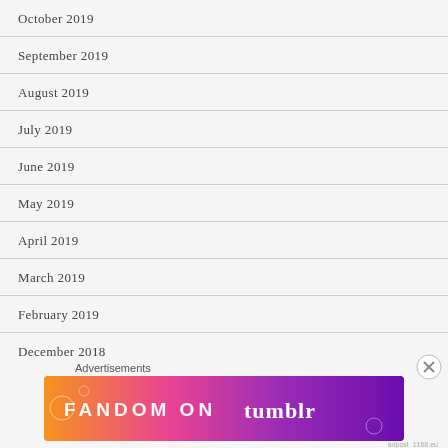October 2019
September 2019
August 2019
July 2019
June 2019
May 2019
April 2019
March 2019
February 2019
December 2018
November 2018
Advertisements
[Figure (other): Fandom on Tumblr advertisement banner with colorful orange to purple gradient background and white illustrated icons]